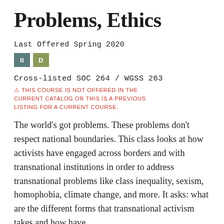Problems, Ethics
Last Offered Spring 2020
II  D
Cross-listed SOC 264 / WGSS 263
⚠ THIS COURSE IS NOT OFFERED IN THE CURRENT CATALOG OR THIS IS A PREVIOUS LISTING FOR A CURRENT COURSE.
The world's got problems. These problems don't respect national boundaries. This class looks at how activists have engaged across borders and with transnational institutions in order to address transnational problems like class inequality, sexism, homophobia, climate change, and more. It asks: what are the different forms that transnational activism takes and how have